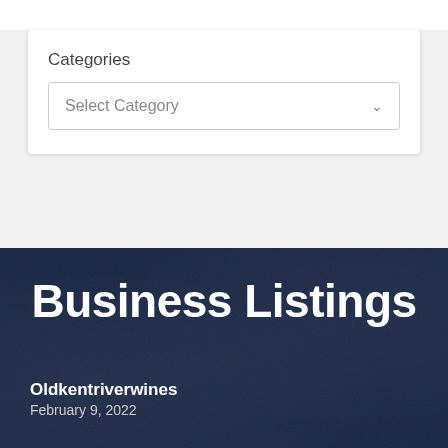Categories
Select Category
Business Listings
Oldkentriverwines
February 9, 2022
Commercial Playground Solutions